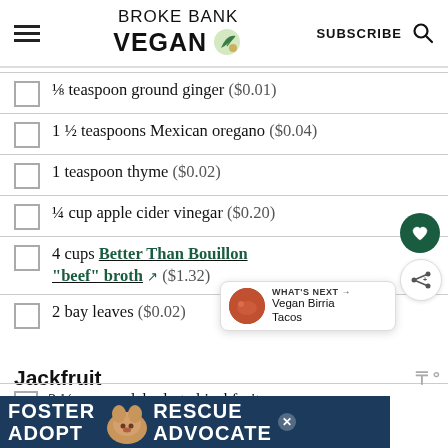BROKE BANK VEGAN — SUBSCRIBE
⅛ teaspoon ground ginger ($0.01)
1 ½ teaspoons Mexican oregano ($0.04)
1 teaspoon thyme ($0.02)
¼ cup apple cider vinegar ($0.20)
4 cups Better Than Bouillon "beef" broth ($1.32)
2 bay leaves ($0.02)
Jackfruit
3 ½ ounces dehydrated jackfruit